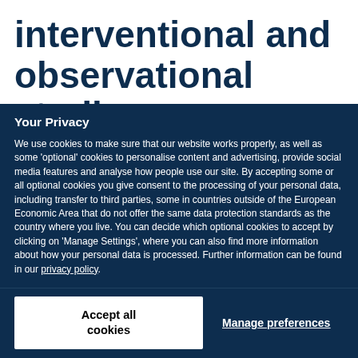interventional and observational studies
Your Privacy
We use cookies to make sure that our website works properly, as well as some ‘optional’ cookies to personalise content and advertising, provide social media features and analyse how people use our site. By accepting some or all optional cookies you give consent to the processing of your personal data, including transfer to third parties, some in countries outside of the European Economic Area that do not offer the same data protection standards as the country where you live. You can decide which optional cookies to accept by clicking on ‘Manage Settings’, where you can also find more information about how your personal data is processed. Further information can be found in our privacy policy.
Accept all cookies
Manage preferences